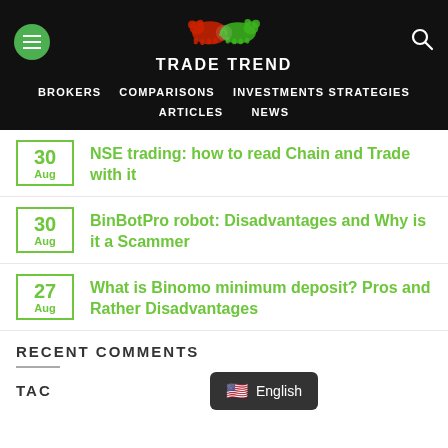TRADE TREND — BROKERS | COMPARISONS | INVESTMENTS STRATEGIES | ARTICLES | NEWS
30 Aug — NSE trading: how to read Chain and Trade with it
30 Aug — BinBotPro robot: Disadvantages and Why is it a Scammer
27 Aug — What is Binomo minimum deposit? Pros and Rather Disadvantages
RECENT COMMENTS
TAC
English